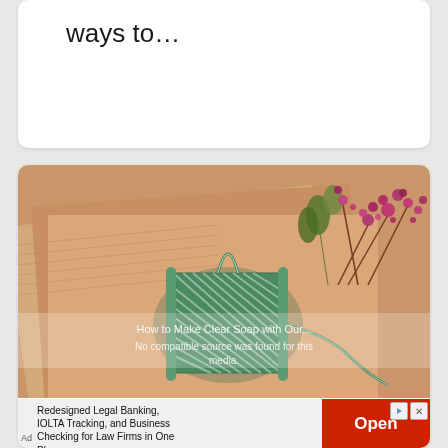ways to…
[Figure (photo): A spool of green and white baker's twine resting on kraft paper gift boxes, with dried pink and green floral sprigs in the background. Overlay text reads 'How to Make Clear Soap with Our...' and 'No compatible source was found for this media.' An advertisement banner at the bottom reads 'Redesigned Legal Banking, IOLTA Tracking, and Business Checking for Law Firms in One Place' with an 'Open' button.]